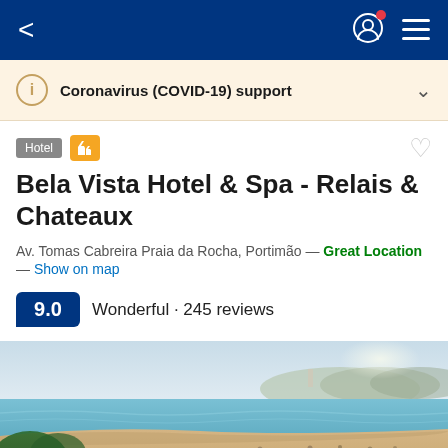< [navigation bar with back arrow, user icon, menu icon]
Coronavirus (COVID-19) support
Hotel
Bela Vista Hotel & Spa - Relais & Chateaux
Av. Tomas Cabreira Praia da Rocha, Portimão — Great Location — Show on map
9.0  Wonderful · 245 reviews
[Figure (photo): Aerial view of a beach with golden sand, turquoise sea, and a coastal town with terracotta-roofed buildings in the foreground. Hilly coastline visible in the background.]